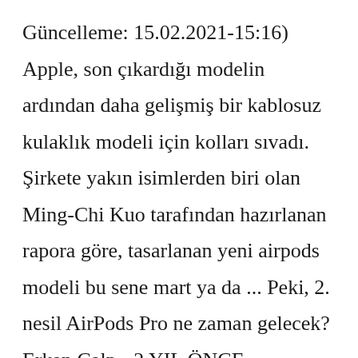Güncelleme: 15.02.2021-15:16) Apple, son çıkardığı modelin ardından daha gelişmiş bir kablosuz kulaklık modeli için kolları sıvadı. Şirkete yakın isimlerden biri olan Ming-Chi Kuo tarafından hazırlanan rapora göre, tasarlanan yeni airpods modeli bu sene mart ya da ... Peki, 2. nesil AirPods Pro ne zaman gelecek? Erkan Calp - 2 YIL ÖNCE GÜNCELLENDİ. DigiTimes raporuna göre, Apple 2021'nin ikinci yarısında AirPods Pro 2. nesil modelini piyasaya